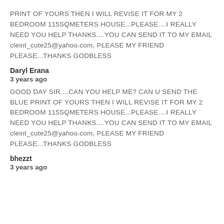PRINT OF YOURS THEN I WILL REVISE IT FOR MY 2 BEDROOM 115SQMETERS HOUSE...PLEASE....I REALLY NEED YOU HELP THANKS....YOU CAN SEND IT TO MY EMAIL cleint_cute25@yahoo.com, PLEASE MY FRIEND PLEASE...THANKS GODBLESS
Daryl Erana
3 years ago
GOOD DAY SIR....CAN YOU HELP ME? CAN U SEND THE BLUE PRINT OF YOURS THEN I WILL REVISE IT FOR MY 2 BEDROOM 115SQMETERS HOUSE...PLEASE....I REALLY NEED YOU HELP THANKS....YOU CAN SEND IT TO MY EMAIL cleint_cute25@yahoo.com, PLEASE MY FRIEND PLEASE...THANKS GODBLESS
bhezzt
3 years ago